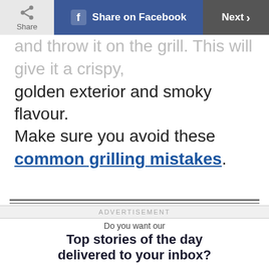Share | Share on Facebook | Next
and throw it on the grill. This will give it a crispy, golden exterior and smoky flavour.
Make sure you avoid these common grilling mistakes.
ADVERTISEMENT
Do you want our
Top stories of the day delivered to your inbox?
YES PLEASE!
NO THANKS